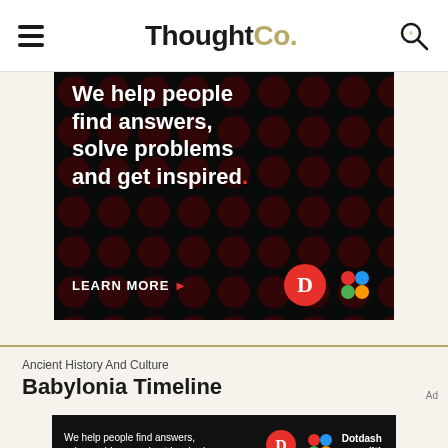ThoughtCo.
[Figure (infographic): Advertisement banner with dark background and red polka dots showing text: 'We help people find answers, solve problems and get inspired.' with LEARN MORE button and Dotdash Meredith logos]
Ancient History And Culture
Babylonia Timeline
Ad
[Figure (infographic): Bottom advertisement banner: 'We help people find answers, solve problems and get inspired.' with Dotdash Meredith logo]